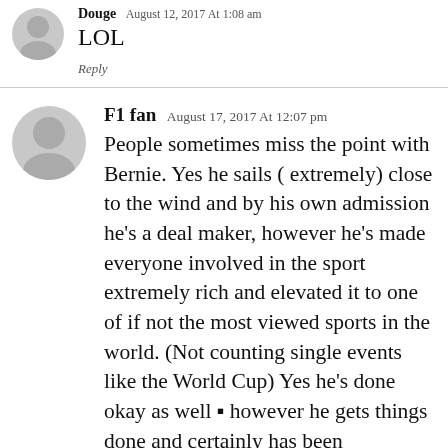Douge August 12, 2017 At 1:08 am
LOL
Reply
F1 fan August 17, 2017 At 12:07 pm
People sometimes miss the point with Bernie. Yes he sails ( extremely) close to the wind and by his own admission he’s a deal maker, however he’s made everyone involved in the sport extremely rich and elevated it to one of if not the most viewed sports in the world. (Not counting single events like the World Cup) Yes he’s done okay as well ⎔ however he gets things done and certainly has been responsible for the global success of the sport and the promotion of many countries that F1 is now present in.